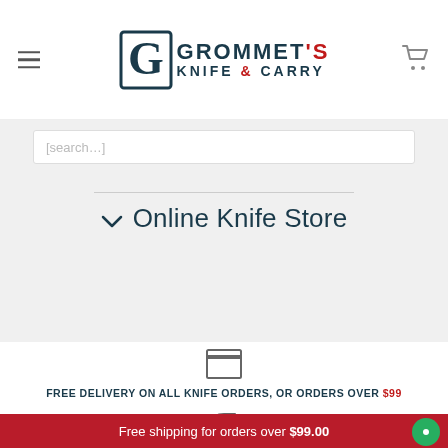[Figure (logo): Grommet's Knife & Carry logo with hamburger menu icon and shopping cart icon in header]
[Figure (screenshot): Search bar input field, partially visible at top of gray section]
Online Knife Store
[Figure (illustration): Box/archive icon representing delivery]
FREE DELIVERY ON ALL KNIFE ORDERS, OR ORDERS OVER $99
[Figure (illustration): Return/undo arrow icon]
Free shipping for orders over $99.00